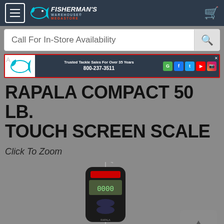Fisherman's Warehouse Megastore
Call For In-Store Availability
[Figure (screenshot): Fisherman's Warehouse banner with logo, 'Trusted Tackle Sales For Over 35 Years', phone number 800-237-3511, and social media icons]
RAPALA COMPACT 50 LB. TOUCH SCREEN SCALE
Click To Zoom
[Figure (photo): Rapala compact 50 lb touch screen fishing scale, black handheld digital scale with LCD display and hook]